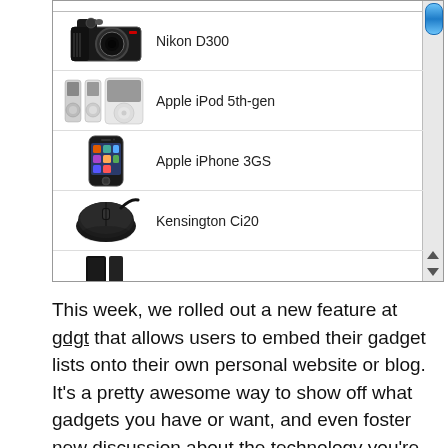[Figure (screenshot): A gadget list widget showing scrollable product list with items: Nikon D300, Apple iPod 5th-gen, Apple iPhone 3GS, Kensington Ci20, and a partially visible 5th item. A blue scroll thumb is visible on the right scrollbar.]
This week, we rolled out a new feature at gdgt that allows users to embed their gadget lists onto their own personal website or blog. It's a pretty awesome way to show off what gadgets you have or want, and even foster new discussion about the technology you're passionate in.